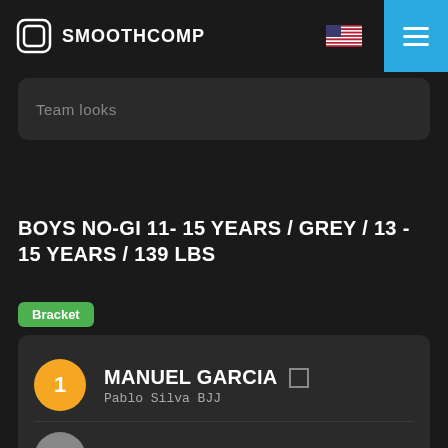SMOOTHCOMP
Team looks
BOYS NO-GI 11- 15 YEARS / GREY / 13 - 15 YEARS / 139 LBS
Bracket
1. MANUEL GARCIA — Pablo Silva BJJ
2. WAYNE ASHTON LEGGETT